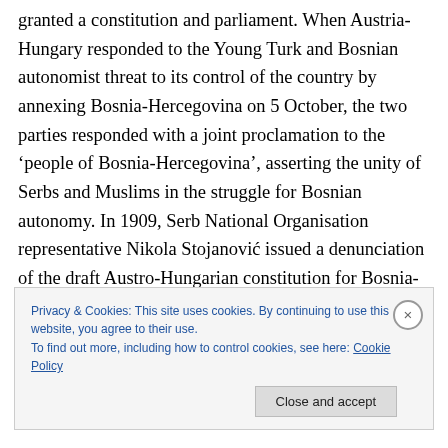granted a constitution and parliament. When Austria-Hungary responded to the Young Turk and Bosnian autonomist threat to its control of the country by annexing Bosnia-Hercegovina on 5 October, the two parties responded with a joint proclamation to the ‘people of Bosnia-Hercegovina’, asserting the unity of Serbs and Muslims in the struggle for Bosnian autonomy. In 1909, Serb National Organisation representative Nikola Stojanović issued a denunciation of the draft Austro-Hungarian constitution for Bosnia-Hercegovina, in the process making an eloquent demand for Bosnian national
Privacy & Cookies: This site uses cookies. By continuing to use this website, you agree to their use.
To find out more, including how to control cookies, see here: Cookie Policy